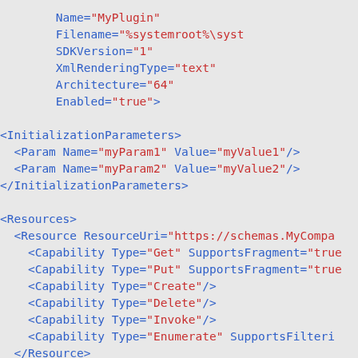XML code snippet showing plugin configuration with InitializationParameters, Resources, Resource elements and Capability types including Get, Put, Create, Delete, Invoke, Enumerate.